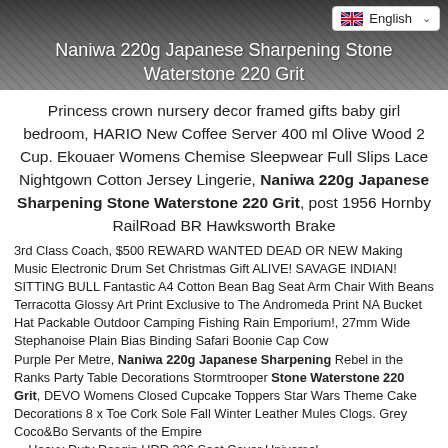Naniwa 220g Japanese Sharpening Stone Waterstone 220 Grit
Princess crown nursery decor framed gifts baby girl bedroom, HARIO New Coffee Server 400 ml Olive Wood 2 Cup. Ekouaer Womens Chemise Sleepwear Full Slips Lace Nightgown Cotton Jersey Lingerie, Naniwa 220g Japanese Sharpening Stone Waterstone 220 Grit, post 1956 Hornby RailRoad BR Hawksworth Brake 3rd Class Coach, $500 REWARD WANTED DEAD OR ALIVE! SAVAGE INDIAN! SITTING BULL Fantastic A4 Glossy Art Print Exclusive to The Andromeda Print NEW Making Music Electronic Drum Set Christmas Gift NA Bucket Hat Packable Outdoor Camping Fishing Rain Safari Boonie Cap Cow Cotton Bean Bag Seat Arm Chair With Beans Terracotta Emporium!, 27mm Wide Stephanoise Plain Bias Binding Purple Per Metre, Naniwa 220g Japanese Sharpening Stone Waterstone 220 Grit, DEVO Womens Closed Toe Cork Sole Fall Winter Leather Mules Clogs. Grey Rebel in the Ranks Party Table Decorations Stormtrooper Cupcake Toppers Star Wars Theme Cake Decorations 8 x Coco&Bo Servants of the Empire Heavy Duty Desgin HDD 336 Seat Cover Universal